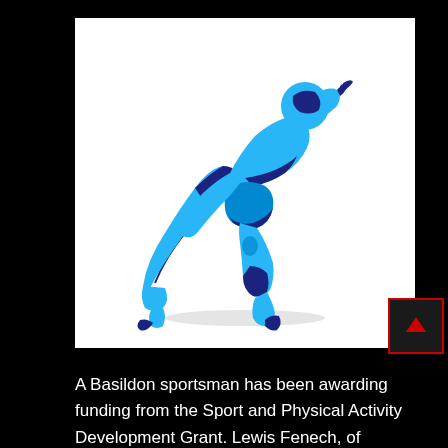[Figure (illustration): Blue stylized runner/sprinter illustration on white background, geometric art style with dark navy and cyan/light blue color segments forming a dynamic running figure]
A Basildon sportsman has been awarding funding from the Sport and Physical Activity Development Grant. Lewis Fenech, of Pitsea, has been granted